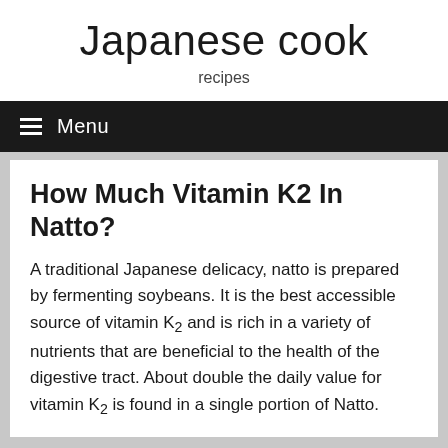Japanese cook
recipes
Menu
How Much Vitamin K2 In Natto?
A traditional Japanese delicacy, natto is prepared by fermenting soybeans. It is the best accessible source of vitamin K2 and is rich in a variety of nutrients that are beneficial to the health of the digestive tract. About double the daily value for vitamin K2 is found in a single portion of Natto.